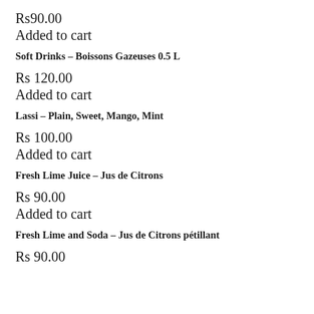Rs90.00
Added to cart
Soft Drinks – Boissons Gazeuses 0.5 L
Rs 120.00
Added to cart
Lassi – Plain, Sweet, Mango, Mint
Rs 100.00
Added to cart
Fresh Lime Juice – Jus de Citrons
Rs 90.00
Added to cart
Fresh Lime and Soda – Jus de Citrons pétillant
Rs 90.00